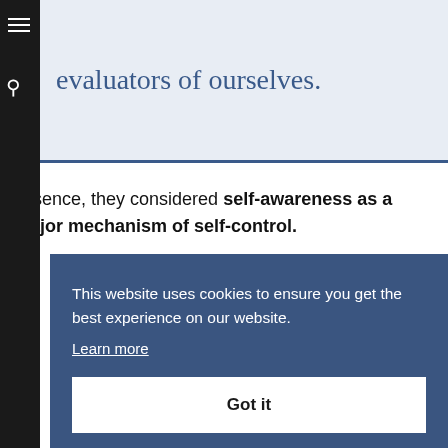evaluators of ourselves.
In essence, they considered self-awareness as a major mechanism of self-control.
This website uses cookies to ensure you get the best experience on our website.
Learn more
Got it